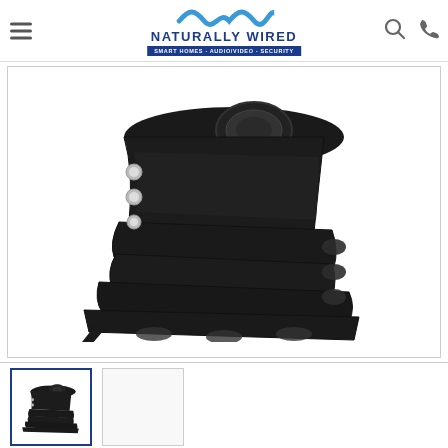[Figure (logo): Naturally Wired logo with wave icon and tagline: SMART HOMES · AUDIO/VIDEO · SECURITY]
[Figure (photo): Black projector ceiling mount bracket, angular mechanical device with screws and mounting holes, shown in 3/4 view against white background]
[Figure (photo): Thumbnail 1: smaller view of the same black projector ceiling mount bracket]
[Figure (photo): Thumbnail 2: blank/white thumbnail placeholder]